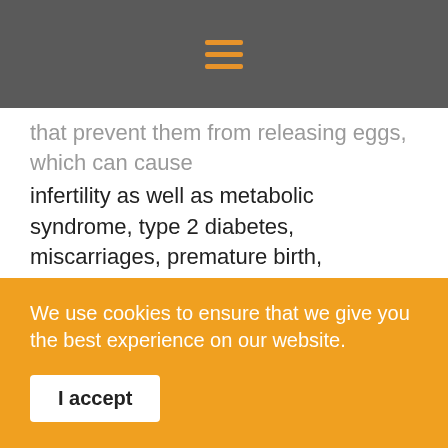hamburger menu icon
that prevent them from releasing eggs, which can cause infertility as well as metabolic syndrome, type 2 diabetes, miscarriages, premature birth, inflammation in the liver, and other problems. Those with PCOS may have elevated androgen levels. Other factors that increase the risk of developing PCOS include high insulin levels, hereditary factors, obesity, and inflammation.
Some fertility supplements and herbal tinctures can help with androgen balance and estrogen-to-progesterone balance, but it's first very important to get a proper
We use cookies to ensure that we give you the best experience on our website.
I accept